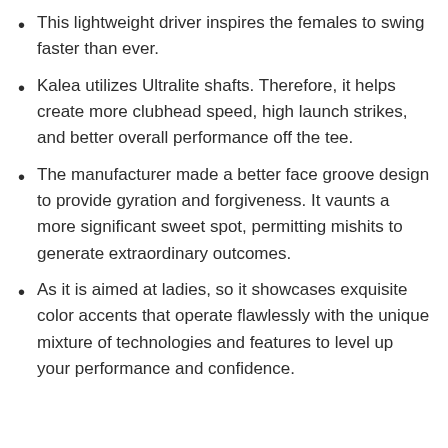This lightweight driver inspires the females to swing faster than ever.
Kalea utilizes Ultralite shafts. Therefore, it helps create more clubhead speed, high launch strikes, and better overall performance off the tee.
The manufacturer made a better face groove design to provide gyration and forgiveness. It vaunts a more significant sweet spot, permitting mishits to generate extraordinary outcomes.
As it is aimed at ladies, so it showcases exquisite color accents that operate flawlessly with the unique mixture of technologies and features to level up your performance and confidence.